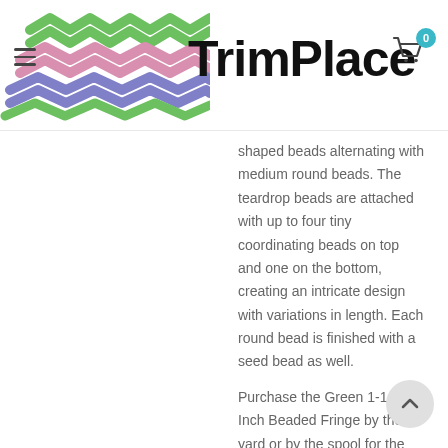TrimPlace
shaped beads alternating with medium round beads. The teardrop beads are attached with up to four tiny coordinating beads on top and one on the bottom, creating an intricate design with variations in length. Each round bead is finished with a seed bead as well.
Purchase the Green 1-1/4 Inch Beaded Fringe by the yard or by the spool for the best value.
Style #: 96504-0033-16
Price per Yard : $6.99
Price Per Spool : $41.90